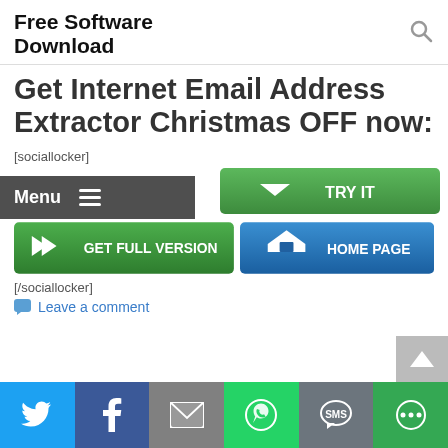Free Software Download
Get Internet Email Address Extractor Christmas OFF now:
Menu
[sociallocker]
[Figure (screenshot): Green TRY IT button with down-chevron icon]
[Figure (screenshot): Green GET FULL VERSION button and blue HOME PAGE button]
[/sociallocker]
Leave a comment
[Figure (screenshot): Social share footer bar with Twitter, Facebook, Email, WhatsApp, SMS, and More icons]